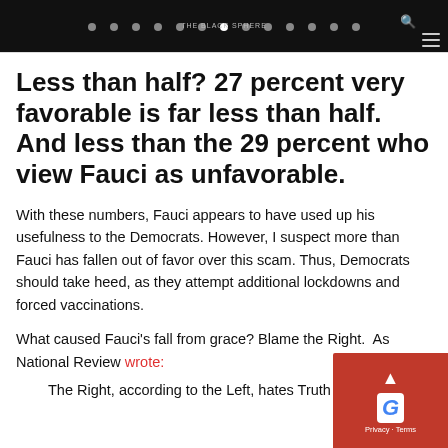THE BLACK SPHERE [navigation header with dots]
Less than half? 27 percent very favorable is far less than half. And less than the 29 percent who view Fauci as unfavorable.
With these numbers, Fauci appears to have used up his usefulness to the Democrats. However, I suspect more than Fauci has fallen out of favor over this scam. Thus, Democrats should take heed, as they attempt additional lockdowns and forced vaccinations.
What caused Fauci's fall from grace? Blame the Right. As National Review wrote:
The Right, according to the Left, hates Truth and